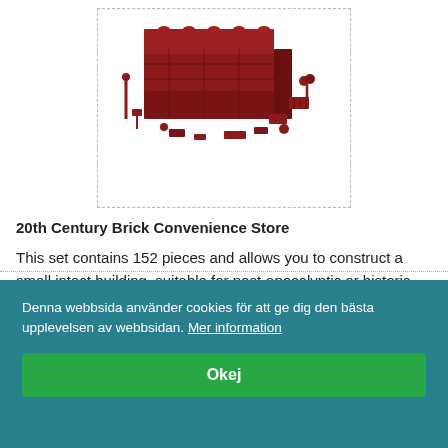[Figure (photo): Product photo of 20th Century Brick Convenience Store set — dark red brick building pieces and accessories spread out]
20th Century Brick Convenience Store
This set contains 152 pieces and allows you to construct a small intact building, suitable for post-apocalyptic or historic... Läs mer
Denna webbsida använder cookies för att ge dig den bästa upplevelsen av webbsidan. Mer information
Okej